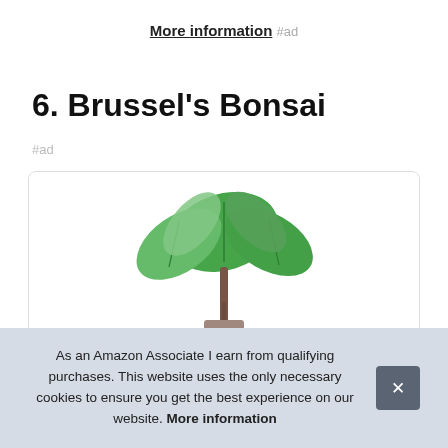More information #ad
6. Brussel's Bonsai
#ad
[Figure (photo): Green leafy bonsai plant photo inside a product card with rounded border]
As an Amazon Associate I earn from qualifying purchases. This website uses the only necessary cookies to ensure you get the best experience on our website. More information